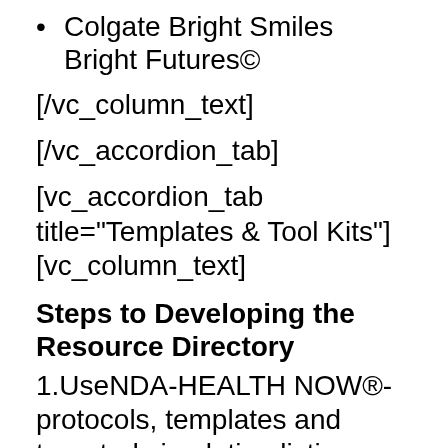Colgate Bright Smiles Bright Futures©
[/vc_column_text]
[/vc_accordion_tab]
[vc_accordion_tab title="Templates & Tool Kits"][vc_column_text]
Steps to Developing the Resource Directory
1.UseNDA-HEALTH NOW®-protocols, templates and targeted circulation listing
2.Identify ALL local dental health providers serving the underserved